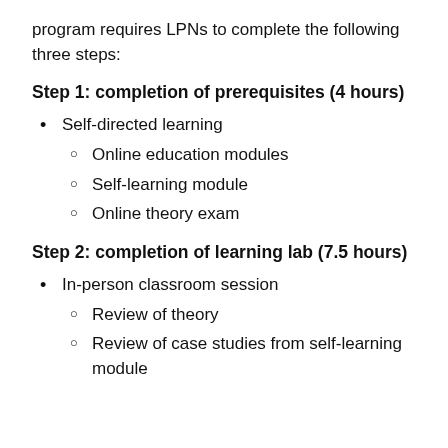program requires LPNs to complete the following three steps:
Step 1: completion of prerequisites (4 hours)
Self-directed learning
Online education modules
Self-learning module
Online theory exam
Step 2: completion of learning lab (7.5 hours)
In-person classroom session
Review of theory
Review of case studies from self-learning module